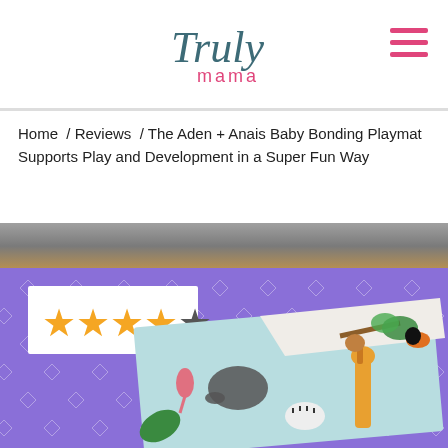Truly mama
Home / Reviews / The Aden + Anais Baby Bonding Playmat Supports Play and Development in a Super Fun Way
[Figure (photo): Rating stars showing 4 out of 5 stars (4 orange stars, 1 dark gray star) in a white box, overlaid on a purple background with diamond pattern. Below is a product image of the Aden + Anais Baby Bonding Playmat showing a playmat with jungle animals including elephant, giraffe, zebra, flamingo, monkey, and toucan.]